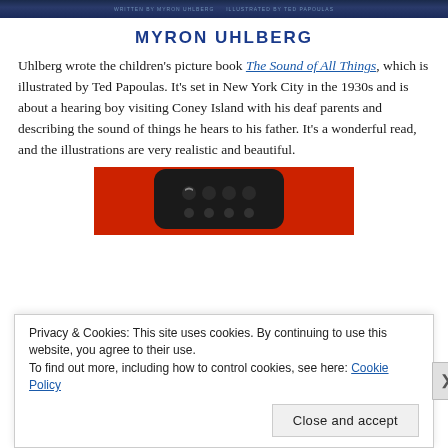[Figure (photo): Top portion of a book cover with dark blue background showing text partially visible]
MYRON UHLBERG
Uhlberg wrote the children's picture book The Sound of All Things, which is illustrated by Ted Papoulas. It's set in New York City in the 1930s and is about a hearing boy visiting Coney Island with his deaf parents and describing the sound of things he hears to his father. It's a wonderful read, and the illustrations are very realistic and beautiful.
[Figure (photo): Partial photo showing a red background with a dark smartphone/remote control device]
Privacy & Cookies: This site uses cookies. By continuing to use this website, you agree to their use.
To find out more, including how to control cookies, see here: Cookie Policy
Close and accept